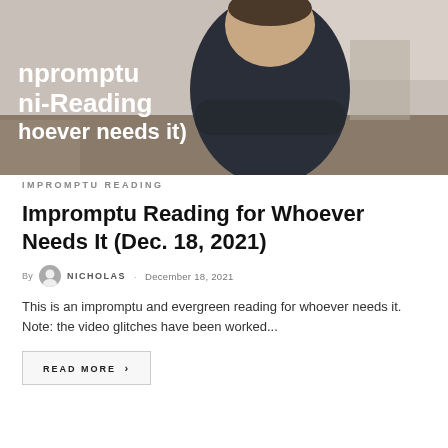[Figure (photo): Hero image of a man in a dark long-sleeve shirt with arms crossed, sitting in a casual indoor setting. White text overlay partially visible showing 'mpromptu', 'ni-Reading', 'hoever needs it)']
IMPROMPTU READING
Impromptu Reading for Whoever Needs It (Dec. 18, 2021)
By NICHOLAS · December 18, 2021
This is an impromptu and evergreen reading for whoever needs it. Note: the video glitches have been worked...
READ MORE >